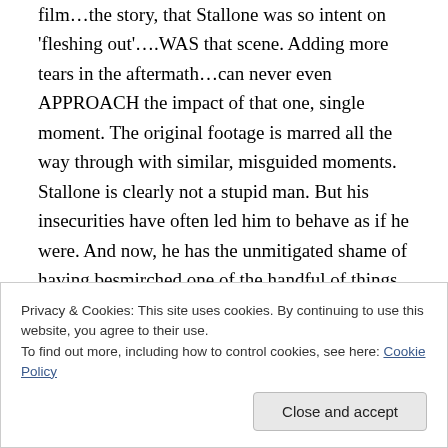film…the story, that Stallone was so intent on 'fleshing out'….WAS that scene. Adding more tears in the aftermath…can never even APPROACH the impact of that one, single moment. The original footage is marred all the way through with similar, misguided moments. Stallone is clearly not a stupid man. But his insecurities have often led him to behave as if he were. And now, he has the unmitigated shame of having besmirched one of the handful of things
Privacy & Cookies: This site uses cookies. By continuing to use this website, you agree to their use.
To find out more, including how to control cookies, see here: Cookie Policy